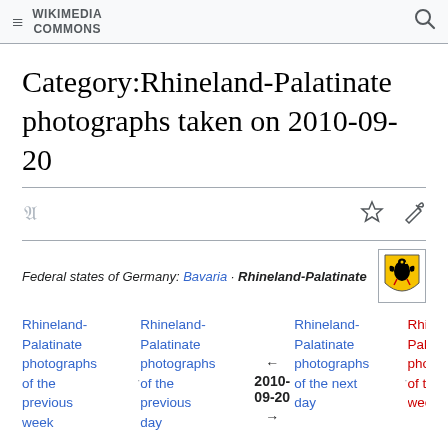Wikimedia Commons
Category:Rhineland-Palatinate photographs taken on 2010-09-20
Federal states of Germany: Bavaria · Rhineland-Palatinate
Rhineland-Palatinate photographs of the previous week · Rhineland-Palatinate photographs of the previous day ← 2010-09-20 → Rhineland-Palatinate photographs of the next day · Rhineland-Palatinate photographs of the next week